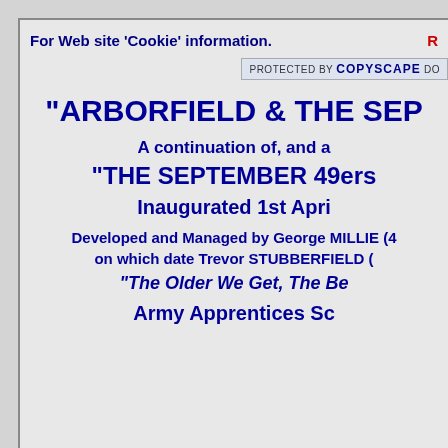For Web site ‘Cookie’ information.
[Figure (other): Copyscape protected badge - PROTECTED BY COPYSCAPE DO...]
"ARBORFIELD & THE SEPT...
A continuation of, and a ...
“THE SEPTEMBER 49ers...
Inaugurated 1st Apri...
Developed and Managed by George MILLIE (4...
on which date Trevor STUBBERFIELD (...
“The Older We Get, The Be...
Army Apprentices Sc...